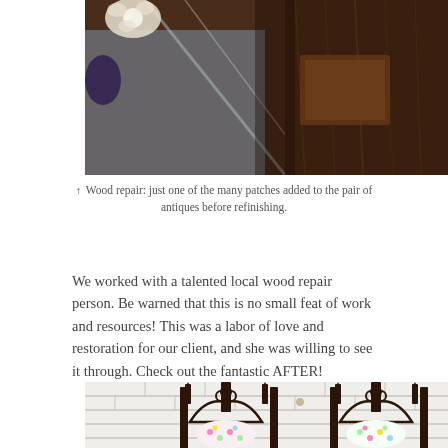[Figure (photo): Close-up photo of antique wood showing damage and repair patches, dark brown wood surface with patches applied before refinishing. Left side shows a flower in the background.]
↑  Wood repair: just one of the many patches added to the pair of antiques before refinishing.
We worked with a talented local wood repair person. Be warned that this is no small feat of work and resources! This was a labor of love and restoration for our client, and she was willing to see it through. Check out the fantastic AFTER!
[Figure (photo): After photo showing two refinished antique Gothic-style chairs with dark wood frames, ornate carved tops with fleur-de-lis and trefoil motifs, and colorful polka dot upholstery on the seats/backs, displayed against a white brick wall.]